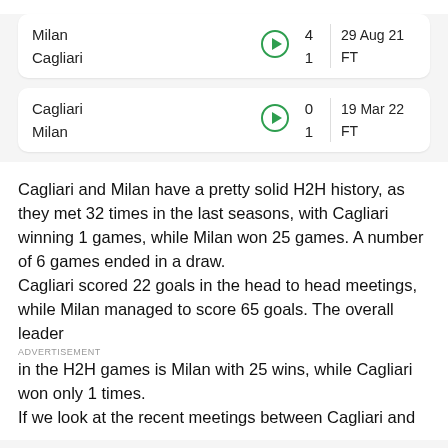| Team | Score | Date | Status |
| --- | --- | --- | --- |
| Milan | 4 | 29 Aug 21 | FT |
| Cagliari | 1 |  |  |
| Team | Score | Date | Status |
| --- | --- | --- | --- |
| Cagliari | 0 | 19 Mar 22 | FT |
| Milan | 1 |  |  |
Cagliari and Milan have a pretty solid H2H history, as they met 32 times in the last seasons, with Cagliari winning 1 games, while Milan won 25 games. A number of 6 games ended in a draw.
Cagliari scored 22 goals in the head to head meetings, while Milan managed to score 65 goals. The overall leader in the H2H games is Milan with 25 wins, while Cagliari won only 1 times.
If we look at the recent meetings between Cagliari and
ADVERTISEMENT